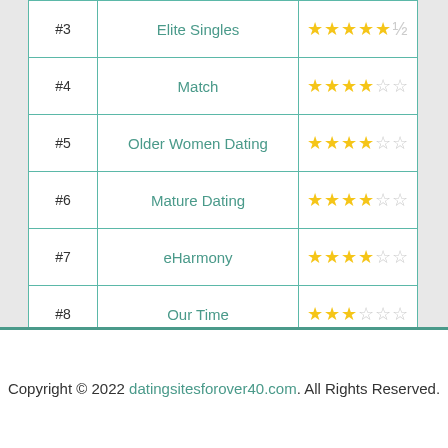| Rank | Site | Rating |
| --- | --- | --- |
| #3 | Elite Singles | ★★★★★½ |
| #4 | Match | ★★★★½☆ |
| #5 | Older Women Dating | ★★★★½☆ |
| #6 | Mature Dating | ★★★★½☆ |
| #7 | eHarmony | ★★★★½☆ |
| #8 | Our Time | ★★★☆☆ |
| #9 | Senior People Meet | ★★★☆☆ |
| #10 | Dating for Seniors | ★★★☆☆ |
Copyright © 2022 datingsitesforover40.com. All Rights Reserved.